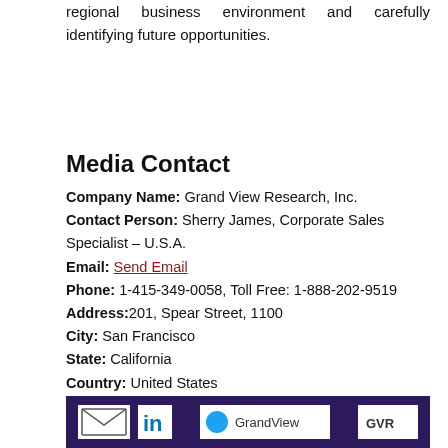regional business environment and carefully identifying future opportunities.
Media Contact
Company Name: Grand View Research, Inc.
Contact Person: Sherry James, Corporate Sales Specialist – U.S.A.
Email: Send Email
Phone: 1-415-349-0058, Toll Free: 1-888-202-9519
Address: 201, Spear Street, 1100
City: San Francisco
State: California
Country: United States
Website: https://www.grandviewresearch.com/industry-analysis/distributed-acoustic-sensing-market
[Figure (other): Dark purple footer banner with social media icons including email, LinkedIn, and other brand icons on white backgrounds.]